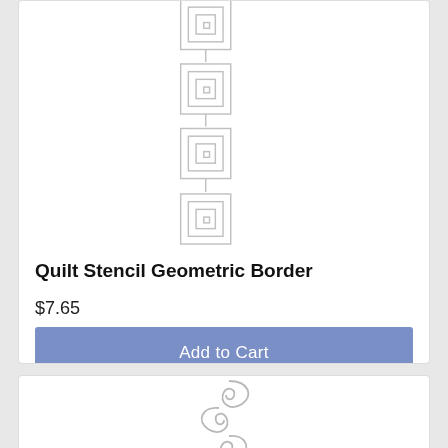[Figure (illustration): Quilt stencil geometric border pattern — repeating nested square motifs in light gray on white background]
Quilt Stencil Geometric Border
$7.65
Add to Cart
[Figure (illustration): Decorative swirl/scroll quilt stencil pattern in light gray on white background]